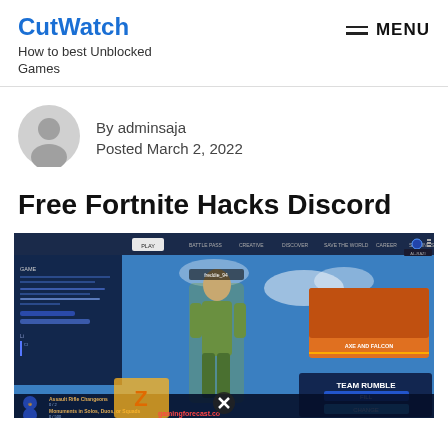CutWatch — How to best Unblocked Games | MENU
[Figure (illustration): Author avatar: circular grey placeholder icon with silhouette of a person]
By adminsaja
Posted March 2, 2022
Free Fortnite Hacks Discord
[Figure (screenshot): Screenshot of a Fortnite game client showing gameplay interface with character, menus, PLAY tab, TEAM RUMBLE mode, and gamingforecast.com watermark]